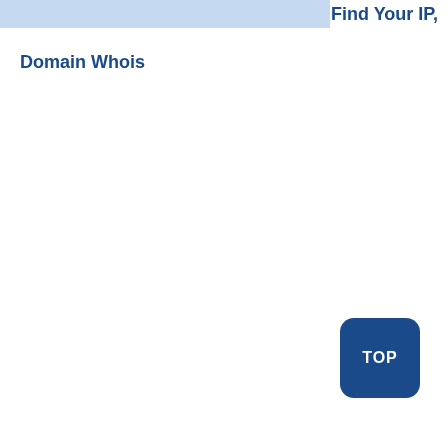Find Your IP,
Domain Whois
TOP